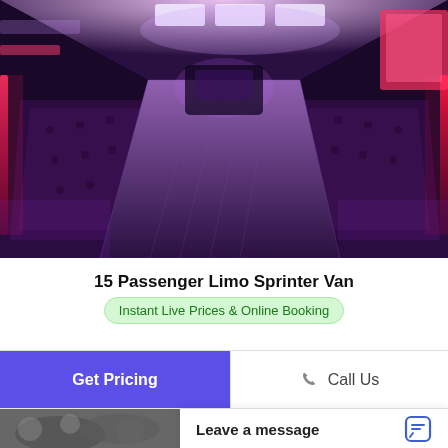[Figure (photo): Interior of a limo sprinter van with purple/pink LED lighting, tufted leather bench seating along both sides, and a long aisle down the middle. Overhead lights and ambient neon strips illuminate the luxurious interior.]
15 Passenger Limo Sprinter Van
Instant Live Prices & Online Booking
Get Pricing
Call Us
[Figure (photo): Partial thumbnail of another vehicle or scene, partially visible at bottom left]
Leave a message